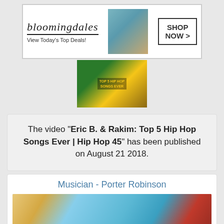[Figure (photo): Bloomingdale's advertisement banner with logo, tagline 'View Today's Top Deals!', a model wearing a hat, and 'SHOP NOW >' button]
[Figure (screenshot): Video thumbnail with text 'TOP 5 HIP HOP SONGS EVER' overlay]
The video "Eric B. & Rakim: Top 5 Hip Hop Songs Ever | Hip Hop 45" has been published on August 21 2018.
Musician - Porter Robinson
[Figure (photo): Anime-style illustration of a blonde character with blue eyes wearing red, against a light blue sky background]